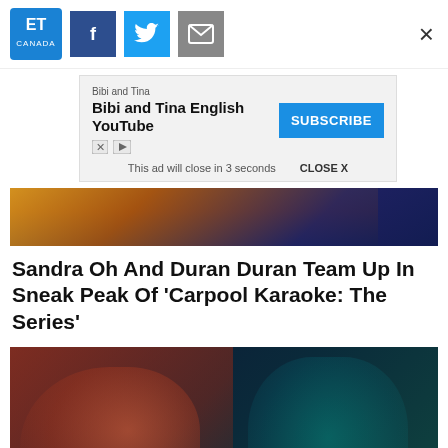ET Canada | Facebook | Twitter | Mail | ×
[Figure (screenshot): Ad banner: Bibi and Tina English YouTube with SUBSCRIBE button and close notice 'This ad will close in 3 seconds  CLOSE X']
[Figure (photo): Top portion of article hero image showing performers in colorful costumes]
Sandra Oh And Duran Duran Team Up In Sneak Peak Of 'Carpool Karaoke: The Series'
[Figure (photo): Artistic double-exposure photo of a person with teal lighting on right side and warm red/orange on left, showing a man with hand near face and blurred face profile merging from left]